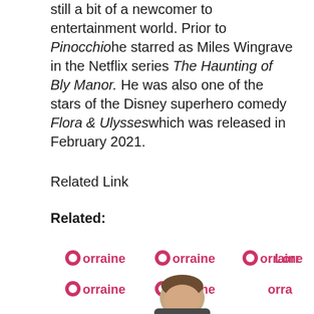still a bit of a newcomer to entertainment world. Prior to Pinocchio he starred as Miles Wingrave in the Netflix series The Haunting of Bly Manor. He was also one of the stars of the Disney superhero comedy Flora & Ulysses which was released in February 2021.
Related Link
Related:
Tim Allen, John Travolta & More Actors Who've Played Santa: See Their Epic Transformations
[Figure (photo): Photo of a man in front of a Lorraine TV show backdrop with multiple Lorraine logos in pink]